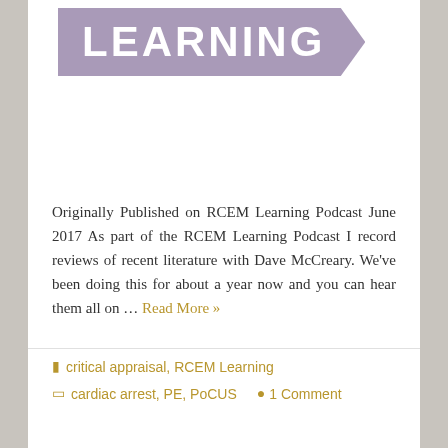[Figure (logo): RCEM Learning banner logo with purple/mauve background and white bold text reading LEARNING with a chevron/arrow shape]
Originally Published on RCEM Learning Podcast June 2017 As part of the RCEM Learning Podcast I record reviews of recent literature with Dave McCreary. We've been doing this for about a year now and you can hear them all on … Read More »
critical appraisal, RCEM Learning
cardiac arrest, PE, PoCUS   1 Comment